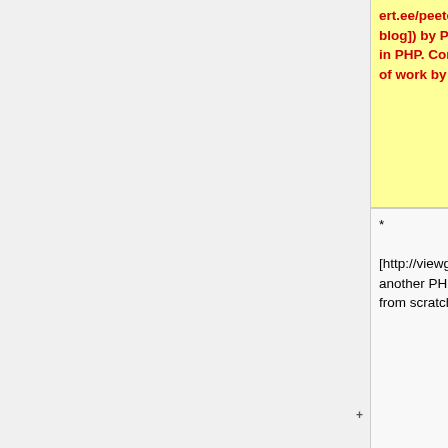| Old | New |
| --- | --- |
| * [http://viewgit.sourceforge.net/ viewgit]: another PHP git repository browser written from scratch. | * [http://viewgit.sourceforge.net/ viewgit]: another PHP git repository browser written from scratch. |
| * [http://www.gitalist.com/ Gitalist]: by Dan Brook, Tom Doran and Zac Stevens in Perl. Built on Catalyst and inspired by the original <code>gitweb</code>. | * [http://www.gitalist.com/ Gitalist]: by Dan Brook, Tom Doran and Zac Stevens in Perl. Built on Catalyst and inspired by the original <code>gitweb</code>. |
|  | * [http://github.com/sethtrain/django-git/ django-git]: by Seth Buntin. A simple |